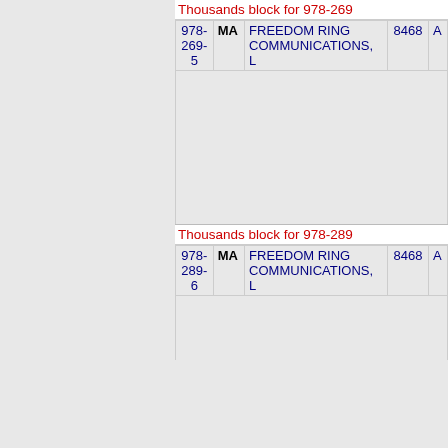Thousands block for 978-269
| NPA-NXX | State | Company | LATA |  |
| --- | --- | --- | --- | --- |
| 978-
269-
5 | MA | FREEDOM RING
COMMUNICATIONS,
L | 8468 | A |
Thousands block for 978-289
| NPA-NXX | State | Company | LATA |  |
| --- | --- | --- | --- | --- |
| 978-
289-
6 | MA | FREEDOM RING
COMMUNICATIONS,
L | 8468 | A |